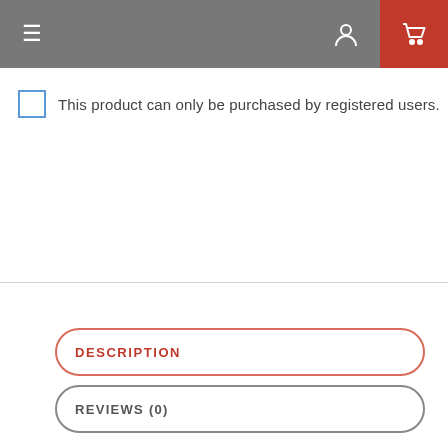Navigation bar with hamburger menu, user icon, and cart icon
This product can only be purchased by registered users.
DESCRIPTION
REVIEWS (0)
The Exclusive Valentines Night is the exclusive Photoshop PSD flyer template designed by ExclusiveFlyer to promote your Exclusive Valentines Night. This is a modern, stylish flyer and just be used for a Love Night, Love Celebration, Valentines Day Party or Valentines Night or Romantic Party etc. Dear customers! – you can also: Customize any flyers or Hire Us to create any unique product. Also, you can get unlimited access to all our templates. You can buy 1 month